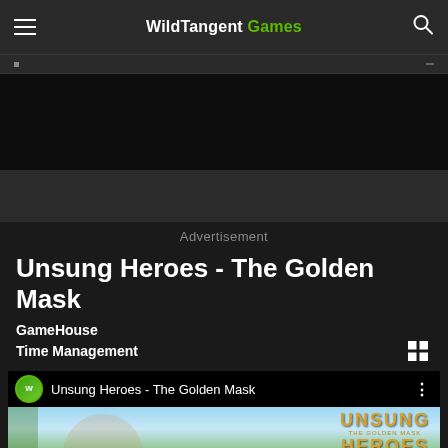WildTangent Games
Advertisement
Unsung Heroes - The Golden Mask
GameHouse
Time Management
[Figure (screenshot): Video thumbnail showing Unsung Heroes - The Golden Mask game with WildTangent Games logo, character artwork and game title text]